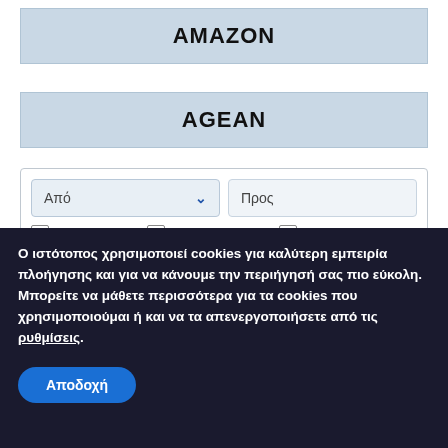AMAZON
AGEAN
[Figure (screenshot): Flight search form with 'Από' (From) dropdown and 'Προς' (To) input, checkboxes for 'Απλή μετάβαση', 'Απευθείας πτήσεις', 'Ευέλικτες ημερομηνίες', and date fields showing 30/08/2022 and 31/08/2022]
Ο ιστότοπος χρησιμοποιεί cookies για καλύτερη εμπειρία πλοήγησης και για να κάνουμε την περιήγησή σας πιο εύκολη.
Μπορείτε να μάθετε περισσότερα για τα cookies που χρησιμοποιούμαι ή και να τα απενεργοποιήσετε από τις ρυθμίσεις.
Αποδοχή